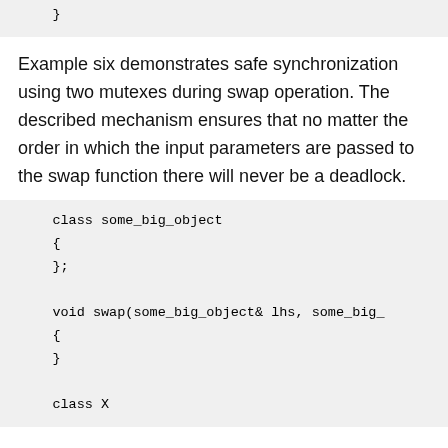}
Example six demonstrates safe synchronization using two mutexes during swap operation. The described mechanism ensures that no matter the order in which the input parameters are passed to the swap function there will never be a deadlock.
class some_big_object
{
};

void swap(some_big_object& lhs, some_big_
{
}

class X